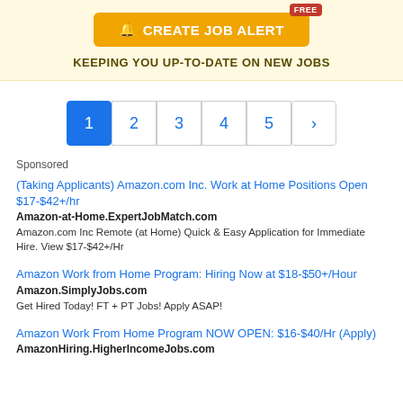[Figure (other): Job alert banner with orange button labeled 'CREATE JOB ALERT' with a FREE badge, and subtitle 'KEEPING YOU UP-TO-DATE ON NEW JOBS' on pale yellow background]
[Figure (other): Pagination bar showing pages 1 (active/blue), 2, 3, 4, 5 and a > next button]
Sponsored
(Taking Applicants) Amazon.com Inc. Work at Home Positions Open $17-$42+/hr
Amazon-at-Home.ExpertJobMatch.com
Amazon.com Inc Remote (at Home) Quick & Easy Application for Immediate Hire. View $17-$42+/Hr
Amazon Work from Home Program: Hiring Now at $18-$50+/Hour
Amazon.SimplyJobs.com
Get Hired Today! FT + PT Jobs! Apply ASAP!
Amazon Work From Home Program NOW OPEN: $16-$40/Hr (Apply)
AmazonHiring.HigherIncomeJobs.com